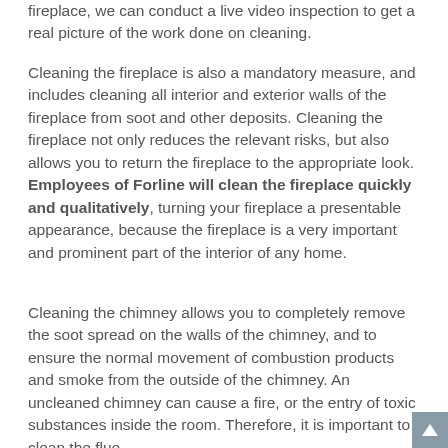fireplace, we can conduct a live video inspection to get a real picture of the work done on cleaning.
Cleaning the fireplace is also a mandatory measure, and includes cleaning all interior and exterior walls of the fireplace from soot and other deposits. Cleaning the fireplace not only reduces the relevant risks, but also allows you to return the fireplace to the appropriate look. Employees of Forline will clean the fireplace quickly and qualitatively, turning your fireplace a presentable appearance, because the fireplace is a very important and prominent part of the interior of any home.
Cleaning the chimney allows you to completely remove the soot spread on the walls of the chimney, and to ensure the normal movement of combustion products and smoke from the outside of the chimney. An uncleaned chimney can cause a fire, or the entry of toxic substances inside the room. Therefore, it is important to clean the flue.